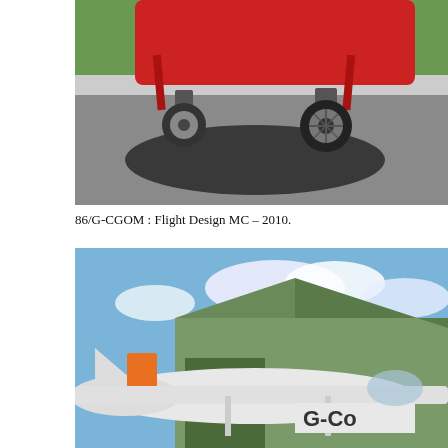[Figure (photo): Close-up photograph of a red aircraft undercarriage on a tarmac runway, showing nose wheel and main landing gear with shadow, green grass in background.]
86/G-CGOM : Flight Design MC – 2010.
[Figure (photo): Photograph of a white and orange light aircraft parked in front of a green metal hangar building under a blue sky with clouds. Registration partially visible as G-CO...]